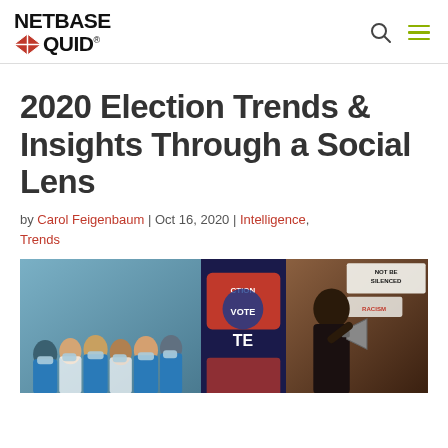NetBase Quid
2020 Election Trends & Insights Through a Social Lens
by Carol Feigenbaum | Oct 16, 2020 | Intelligence, Trends
[Figure (photo): Collage of three photos: healthcare workers in masks, voting campaign signs, and a woman protesting with a megaphone at a rally with signs reading 'NOT BE SILENCED']